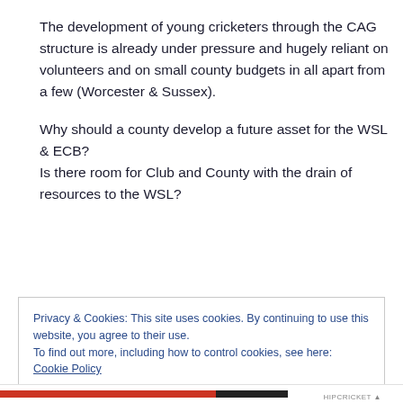The development of young cricketers through the CAG structure is already under pressure and hugely reliant on volunteers and on small county budgets in all apart from a few (Worcester & Sussex).
Why should a county develop a future asset for the WSL & ECB?
Is there room for Club and County with the drain of resources to the WSL?
Privacy & Cookies: This site uses cookies. By continuing to use this website, you agree to their use.
To find out more, including how to control cookies, see here: Cookie Policy